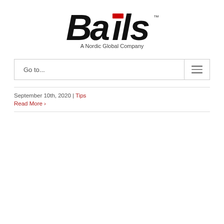[Figure (logo): Bails logo — bold italic black text with a red stylized 'i' bar, subtitle 'A Nordic Global Company' below]
Go to...
September 10th, 2020 | Tips
Read More >